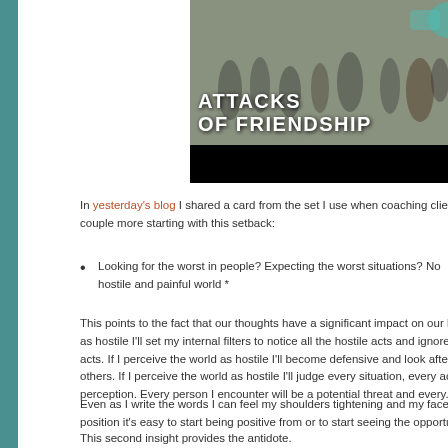[Figure (photo): Image showing a crowd scene with text overlay reading 'ATTACKS OF FRIENDSHIP' in white bold letters on a dark/street background, with a black bar at the bottom.]
In yesterday's blog I shared a card from the set I use when coaching clie... couple more starting with this setback:
Looking for the worst in people? Expecting the worst situations? No... hostile and painful world *
This points to the fact that our thoughts have a significant impact on our l... as hostile I'll set my internal filters to notice all the hostile acts and ignore... acts. If I perceive the world as hostile I'll become defensive and look afte... others. If I perceive the world as hostile I'll judge every situation, every ac... perception. Every person I encounter will be a potential threat and every...
Even as I write the words I can feel my shoulders tightening and my face... position it's easy to start being positive from or to start seeing the opportu...
This second insight provides the antidote.